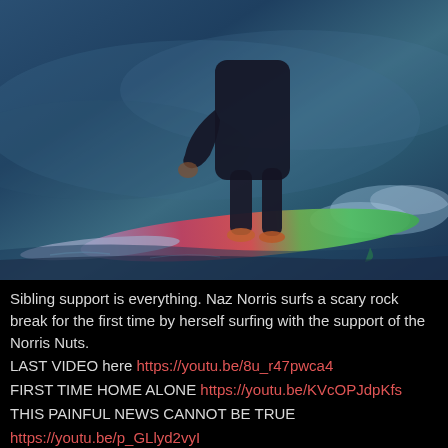[Figure (photo): A surfer in a black wetsuit riding a colorful surfboard (green, red/pink design) on a wave. The image has a dark blue-teal color tone. The surfer's lower body and board are visible, with water spray around.]
Sibling support is everything. Naz Norris surfs a scary rock break for the first time by herself surfing with the support of the Norris Nuts.
LAST VIDEO here https://youtu.be/8u_r47pwca4
FIRST TIME HOME ALONE https://youtu.be/KVcOPJdpKfs
THIS PAINFUL NEWS CANNOT BE TRUE
https://youtu.be/p_GLlyd2vyI